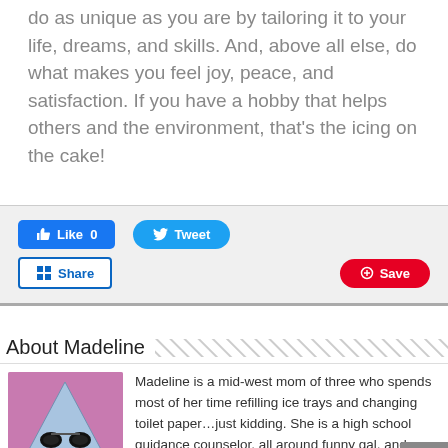Hobbies are about the individual. Make whatever you do as unique as you are by tailoring it to your life, dreams, and skills. And, above all else, do what makes you feel joy, peace, and satisfaction. If you have a hobby that helps others and the environment, that's the icing on the cake!
[Figure (screenshot): Social sharing buttons: Like 0 (Facebook), Tweet (Twitter), Share (LinkedIn), Save (Pinterest)]
About Madeline
[Figure (illustration): Triangle-shaped cartoon character with sunglasses on a pink/purple background — author avatar]
Madeline is a mid-west mom of three who spends most of her time refilling ice trays and changing toilet paper…just kidding. She is a high school guidance counselor, all around funny gal, and a writer. Her first book, Be Happy…